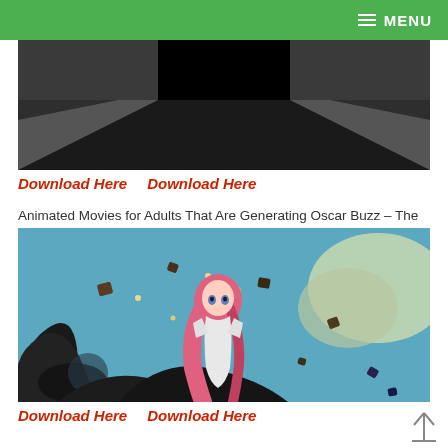MENU
[Figure (screenshot): Dark screenshot showing a dark cinematic scene with black shapes against a grey background]
Download Here   Download Here
Animated Movies for Adults That Are Generating Oscar Buzz – The
[Figure (screenshot): Animated scene with a pink-haired anime girl in white dress standing on dark curved structures against a teal sky with floating rocks and lights]
Download Here   Download Here